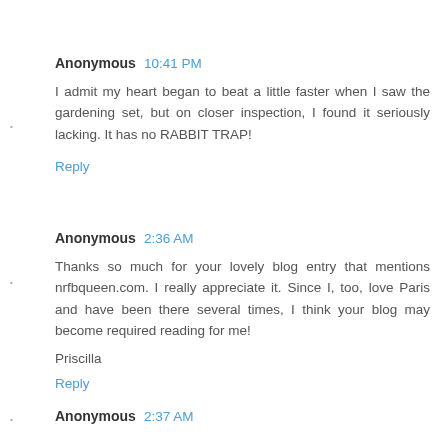Anonymous 10:41 PM
I admit my heart began to beat a little faster when I saw the gardening set, but on closer inspection, I found it seriously lacking. It has no RABBIT TRAP!
Reply
Anonymous 2:36 AM
Thanks so much for your lovely blog entry that mentions nrfbqueen.com. I really appreciate it. Since I, too, love Paris and have been there several times, I think your blog may become required reading for me!
Priscilla
Reply
Anonymous 2:37 AM